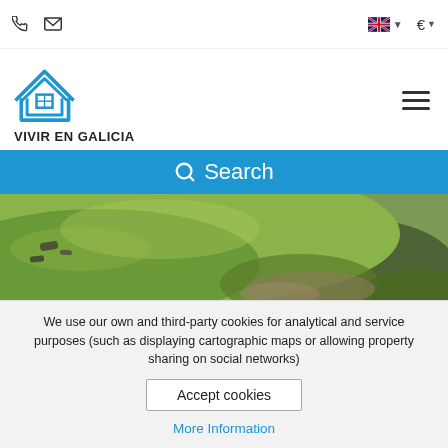Vivir en Galicia — navigation bar with phone, email, language (UK flag), currency (€) selectors and hamburger menu
[Figure (logo): Vivir en Galicia house logo in blue outline with text VIVIR EN GALICIA below]
Search
[Figure (photo): Aerial photo of a green grassy hillside plot of land in Cabanas, Galicia]
Chalet for sale in Cabanas
We use our own and third-party cookies for analytical and service purposes (such as displaying cartographic maps or allowing property sharing on social networks)
Accept cookies
More Information